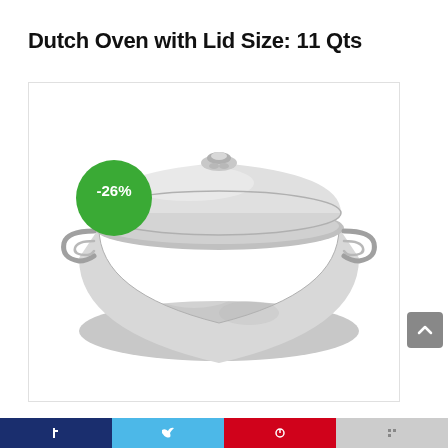Dutch Oven with Lid Size: 11 Qts
[Figure (photo): Stainless steel Dutch oven with lid and two side handles, shown from a slightly elevated angle. A green circular badge showing -26% discount is overlaid on the upper left of the image.]
Social media sharing toolbar with icons for Facebook, Twitter, Pinterest, and other platforms